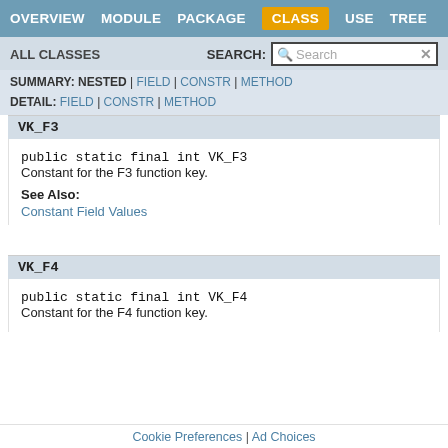OVERVIEW  MODULE  PACKAGE  CLASS  USE  TREE
ALL CLASSES   SEARCH:
VK_F3
public static final int VK_F3
Constant for the F3 function key.
See Also:
Constant Field Values
VK_F4
public static final int VK_F4
Constant for the F4 function key.
Cookie Preferences | Ad Choices